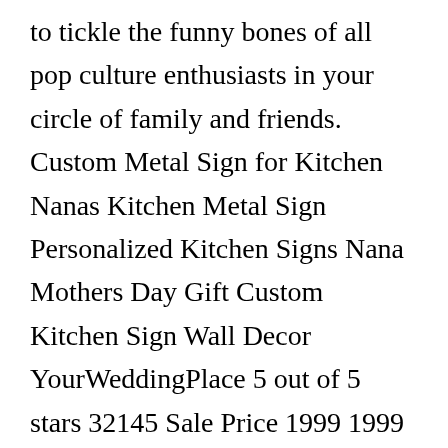to tickle the funny bones of all pop culture enthusiasts in your circle of family and friends. Custom Metal Sign for Kitchen Nanas Kitchen Metal Sign Personalized Kitchen Signs Nana Mothers Day Gift Custom Kitchen Sign Wall Decor YourWeddingPlace 5 out of 5 stars 32145 Sale Price 1999 1999 2352 Original Price 2352 15 off. There are a few different ways to make these kitchen signs. I designed this set of kitchen signs with saying are really versatile way to decorate your kitchen